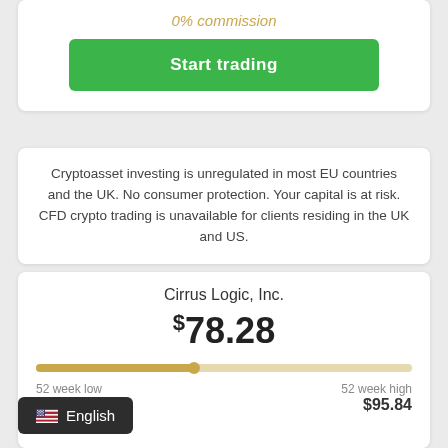0% commission
Start trading
Cryptoasset investing is unregulated in most EU countries and the UK. No consumer protection. Your capital is at risk. CFD crypto trading is unavailable for clients residing in the UK and US.
Cirrus Logic, Inc.
$78.28
52 week low
52 week high
$95.84
English